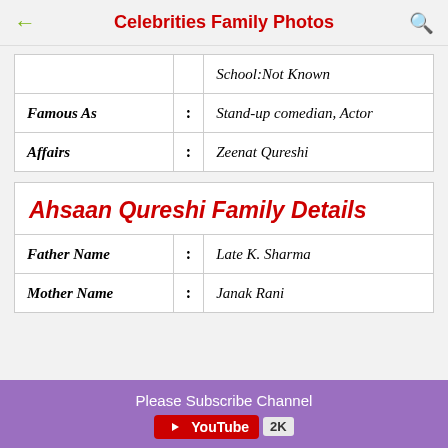Celebrities Family Photos
|  |  | School:Not Known |
| Famous As | : | Stand-up comedian, Actor |
| Affairs | : | Zeenat Qureshi |
| Ahsaan Qureshi Family Details |  |  |
| Father Name | : | Late K. Sharma |
| Mother Name | : | Janak Rani |
Please Subscribe Channel | YouTube 2K